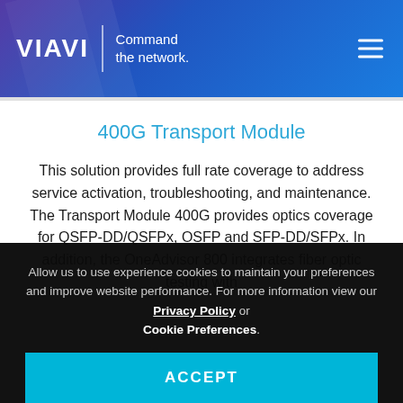[Figure (logo): VIAVI logo with tagline 'Command the network.' on a blue/purple gradient header background with hamburger menu icon]
400G Transport Module
This solution provides full rate coverage to address service activation, troubleshooting, and maintenance. The Transport Module 400G provides optics coverage for QSFP-DD/QSFPx, OSFP and SFP-DD/SFPx. In addition, the OneAdvisor 800 integrates fiber optic testing with
Allow us to use experience cookies to maintain your preferences and improve website performance. For more information view our Privacy Policy or Cookie Preferences.
ACCEPT